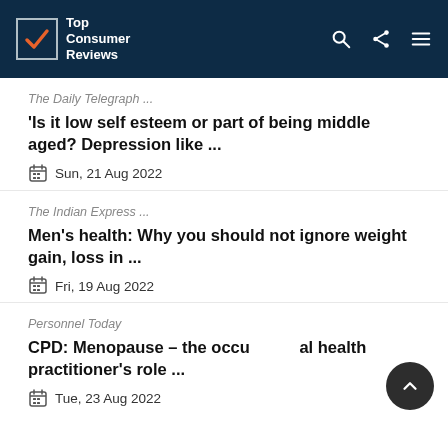Top Consumer Reviews
The Daily Telegraph ...
'Is it low self esteem or part of being middle aged? Depression like ...
Sun, 21 Aug 2022
The Indian Express ...
Men's health: Why you should not ignore weight gain, loss in ...
Fri, 19 Aug 2022
Personnel Today
CPD: Menopause – the occupational health practitioner's role ...
Tue, 23 Aug 2022